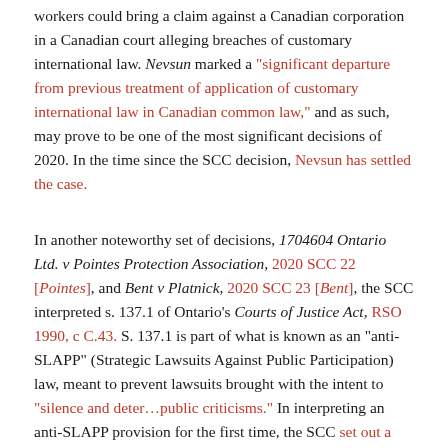workers could bring a claim against a Canadian corporation in a Canadian court alleging breaches of customary international law. Nevsun marked a "significant departure from previous treatment of application of customary international law in Canadian common law," and as such, may prove to be one of the most significant decisions of 2020. In the time since the SCC decision, Nevsun has settled the case.
In another noteworthy set of decisions, 1704604 Ontario Ltd. v Pointes Protection Association, 2020 SCC 22 [Pointes], and Bent v Platnick, 2020 SCC 23 [Bent], the SCC interpreted s. 137.1 of Ontario's Courts of Justice Act, RSO 1990, c C.43. S. 137.1 is part of what is known as an "anti-SLAPP" (Strategic Lawsuits Against Public Participation) law, meant to prevent lawsuits brought with the intent to "silence and deter…public criticisms." In interpreting an anti-SLAPP provision for the first time, the SCC set out a framework to assess future anti-SLAPP motions, emphasizing an expansive understanding of